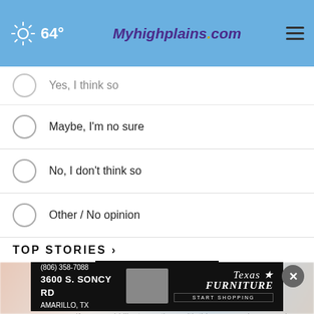64° Myhighplains.com
Yes, I think so
Maybe, I'm no sure
No, I don't think so
Other / No opinion
NEXT *
* By clicking "NEXT" you agree to the following: We use cookies to track your survey answers. If you would like to continue with this survey, please read and agree to the CivicScience Privacy Policy and Terms of Service
TOP STORIES ›
[Figure (screenshot): Blurred photo background for top stories section]
[Figure (infographic): Texas Furniture advertisement banner: (806) 358-7088, 3600 S. SONCY RD, AMARILLO, TX, Texas Furniture START SHOPPING]